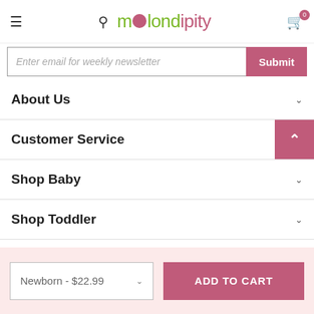melondipity — navigation bar with menu, search, cart (0)
Enter email for weekly newsletter  Submit
About Us
Customer Service
Shop Baby
Shop Toddler
Shop Kids
Newborn - $22.99   ADD TO CART